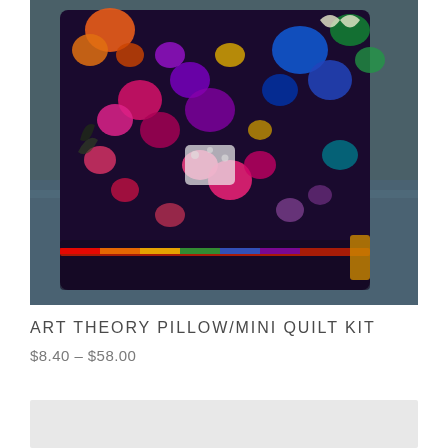[Figure (photo): A colorful floral patterned pillow resting on a dark teal/slate blue upholstered chair. The pillow features vibrant multicolored flowers, butterflies, and botanical motifs in shades of pink, orange, purple, blue, green, and yellow on a dark background.]
ART THEORY PILLOW/MINI QUILT KIT
$8.40 – $58.00
[Figure (photo): Partially visible next product image at the bottom of the page, showing a light gray/white background.]